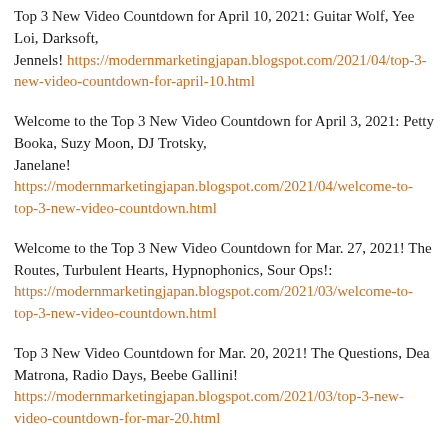Top 3 New Video Countdown for April 10, 2021: Guitar Wolf, Yee Loi, Darksoft, Jennels! https://modernmarketingjapan.blogspot.com/2021/04/top-3-new-video-countdown-for-april-10.html
Welcome to the Top 3 New Video Countdown for April 3, 2021: Petty Booka, Suzy Moon, DJ Trotsky, Janelane! https://modernmarketingjapan.blogspot.com/2021/04/welcome-to-top-3-new-video-countdown.html
Welcome to the Top 3 New Video Countdown for Mar. 27, 2021! The Routes, Turbulent Hearts, Hypnophonics, Sour Ops!: https://modernmarketingjapan.blogspot.com/2021/03/welcome-to-top-3-new-video-countdown.html
Top 3 New Video Countdown for Mar. 20, 2021! The Questions, Dea Matrona, Radio Days, Beebe Gallini! https://modernmarketingjapan.blogspot.com/2021/03/top-3-new-video-countdown-for-mar-20.html
Top 3 New Video Countdown for Mar. 13, 2021! Dea Matrona, The Smog, Josie Cotton, Hayley & the